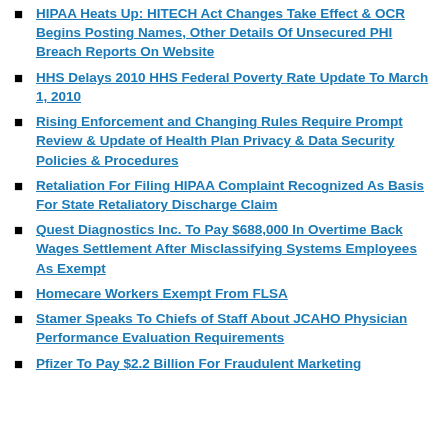HIPAA Heats Up: HITECH Act Changes Take Effect & OCR Begins Posting Names, Other Details Of Unsecured PHI Breach Reports On Website
HHS Delays 2010 HHS Federal Poverty Rate Update To March 1, 2010
Rising Enforcement and Changing Rules Require Prompt Review & Update of Health Plan Privacy & Data Security Policies & Procedures
Retaliation For Filing HIPAA Complaint Recognized As Basis For State Retaliatory Discharge Claim
Quest Diagnostics Inc. To Pay $688,000 In Overtime Back Wages Settlement After Misclassifying Systems Employees As Exempt
Homecare Workers Exempt From FLSA
Stamer Speaks To Chiefs of Staff About JCAHO Physician Performance Evaluation Requirements
Pfizer To Pay $2.2 Billion For Fraudulent Marketing